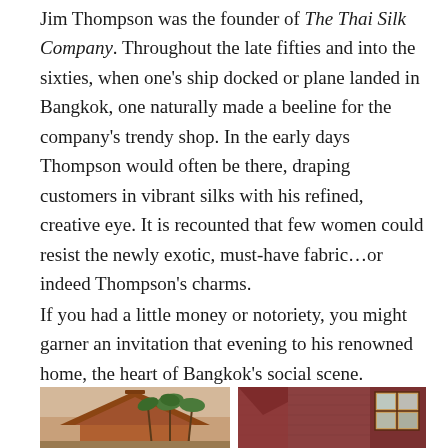Jim Thompson was the founder of The Thai Silk Company. Throughout the late fifties and into the sixties, when one's ship docked or plane landed in Bangkok, one naturally made a beeline for the company's trendy shop. In the early days Thompson would often be there, draping customers in vibrant silks with his refined, creative eye. It is recounted that few women could resist the newly exotic, must-have fabric…or indeed Thompson's charms.
If you had a little money or notoriety, you might garner an invitation that evening to his renowned home, the heart of Bangkok's social scene. Thompson treasured it and shared its unique ambience most evenings by hosting drinks and dinner parties.
[Figure (photo): Two photographs side by side showing Jim Thompson's Thai house: left photo shows traditional Thai wooden house with peaked gabled roof and palm trees in the foreground; right photo shows the wooden exterior wall of the house with traditional Thai-style windows.]